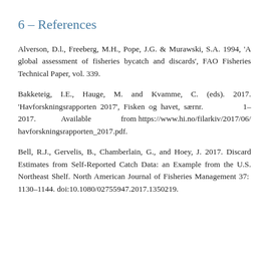6 – References
Alverson, D.l., Freeberg, M.H., Pope, J.G. & Murawski, S.A. 1994, 'A global assessment of fisheries bycatch and discards', FAO Fisheries Technical Paper, vol. 339.
Bakketeig, I.E., Hauge, M. and Kvamme, C. (eds). 2017. 'Havforskningsrapporten 2017', Fisken og havet, særnr. 1–2017. Available from https://www.hi.no/filarkiv/2017/06/havforskningsrapporten_2017.pdf.
Bell, R.J., Gervelis, B., Chamberlain, G., and Hoey, J. 2017. Discard Estimates from Self-Reported Catch Data: an Example from the U.S. Northeast Shelf. North American Journal of Fisheries Management 37: 1130–1144. doi:10.1080/02755947.2017.1350219.